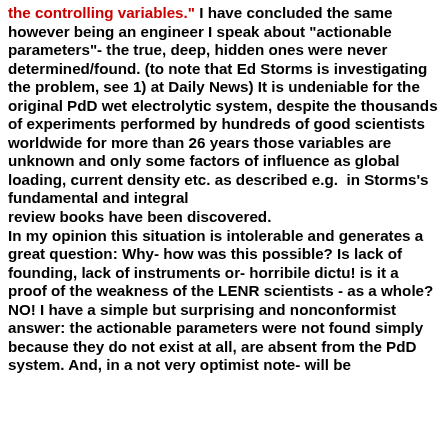the controlling variables." I have concluded the same however being an engineer I speak about "actionable parameters"- the true, deep, hidden ones were never determined/found. (to note that Ed Storms is investigating the problem, see 1) at Daily News) It is undeniable for the original PdD wet electrolytic system, despite the thousands of experiments performed by hundreds of good scientists worldwide for more than 26 years those variables are unknown and only some factors of influence as global loading, current density etc. as described e.g.  in Storms's fundamental and integral
review books have been discovered.
In my opinion this situation is intolerable and generates a great question: Why- how was this possible? Is lack of founding, lack of instruments or- horribile dictu! is it a proof of the weakness of the LENR scientists - as a whole?
NO! I have a simple but surprising and nonconformist answer: the actionable parameters were not found simply because they do not exist at all, are absent from the PdD system. And, in a not very optimist note- will be